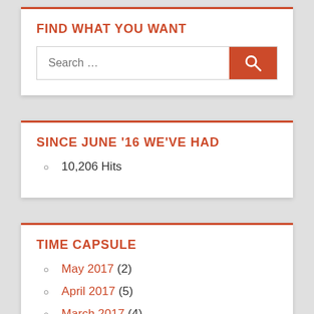FIND WHAT YOU WANT
[Figure (screenshot): Search input box with 'Search …' placeholder and an orange search button with magnifying glass icon]
SINCE JUNE '16 WE'VE HAD
10,206 Hits
TIME CAPSULE
May 2017 (2)
April 2017 (5)
March 2017 (4)
February 2017 (6)